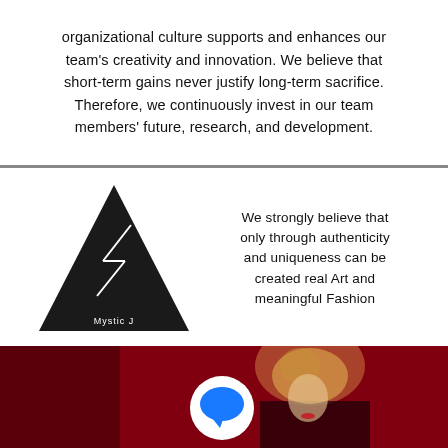organizational culture supports and enhances our team's creativity and innovation. We believe that short-term gains never justify long-term sacrifice. Therefore, we continuously invest in our team members' future, research, and development.
[Figure (logo): Black triangle logo with white lightning bolt and 'Mystic J' text inside]
We strongly believe that only through authenticity and uniqueness can be created real Art and meaningful Fashion
[Figure (photo): Fashion photo of a person with blonde updo hair against a deep red background, with a blue chat bubble icon overlaid]